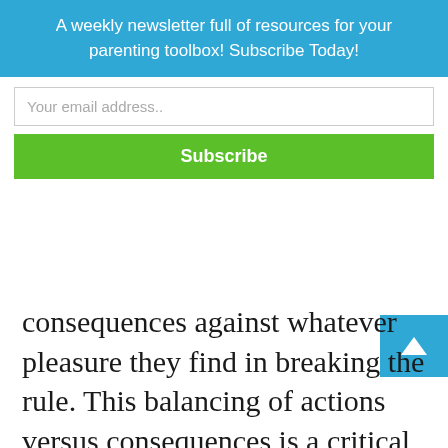A weekly newsletter full of resources for your parenting toolbox! Subscribe Today!
Your email address..
Subscribe
consequences against whatever pleasure they find in breaking the rule. This balancing of actions versus consequences is a critical skill for adolescents to learn and exercise.
Finally, rules need to evolve over time, as lessons are learned, kept in line with the growing maturity of